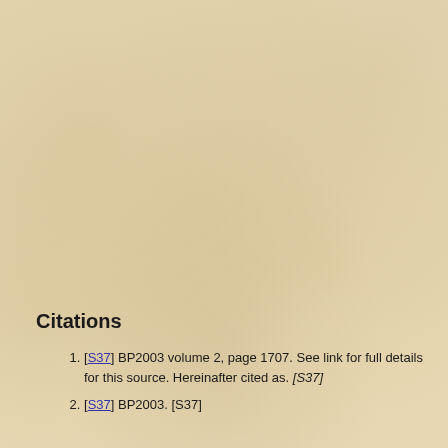Citations
[S37] BP2003 volume 2, page 1707. See link for full details for this source. Hereinafter cited as. [S37]
[S37] BP2003. [S37]